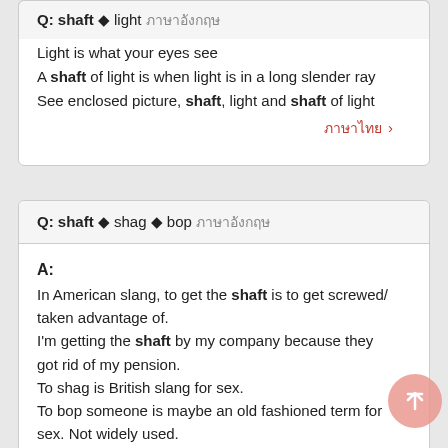Q: shaft ◆ light ภาษาอังกฤษ
A: A shaft is a long rod or a shape of a long rod
Light is what your eyes see
A shaft of light is when light is in a long slender ray
See enclosed picture, shaft, light and shaft of light
ภาษาไทย >
Q: shaft ◆ shag ◆ bop ภาษาอังกฤษ
A:
In American slang, to get the shaft is to get screwed/taken advantage of.
I'm getting the shaft by my company because they got rid of my pension.
To shag is British slang for sex.
To bop someone is maybe an old fashioned term for sex. Not widely used.
ภาษาไ...